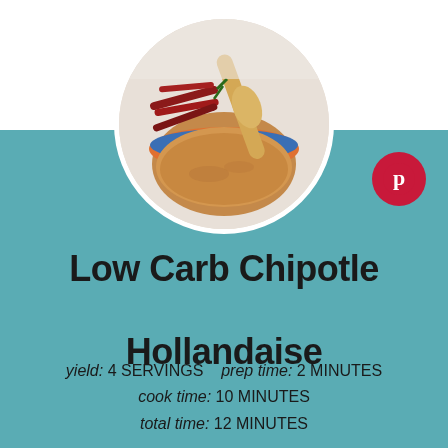[Figure (photo): Circular photo of a bowl of chipotle hollandaise sauce with a wooden spoon, and dried red chili peppers beside the bowl on a white background.]
Low Carb Chipotle Hollandaise
yield: 4 SERVINGS   prep time: 2 MINUTES   cook time: 10 MINUTES   total time: 12 MINUTES